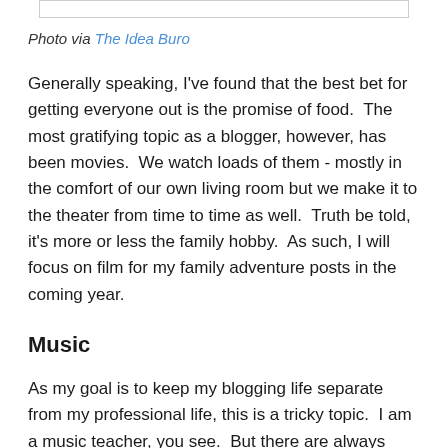[Figure (other): Top portion of an image placeholder (partial, cropped at top of page)]
Photo via The Idea Buro
Generally speaking, I've found that the best bet for getting everyone out is the promise of food.  The most gratifying topic as a blogger, however, has been movies.  We watch loads of them - mostly in the comfort of our own living room but we make it to the theater from time to time as well.  Truth be told, it's more or less the family hobby.  As such, I will focus on film for my family adventure posts in the coming year.
Music
As my goal is to keep my blogging life separate from my professional life, this is a tricky topic.  I am a music teacher, you see.  But there are always intersections between music and the other subjects I write about.  I will resume my celebrations of college marching bands (not my job) this